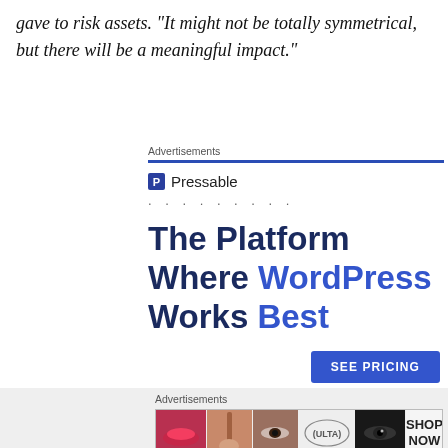gave to risk assets. "It might not be totally symmetrical, but there will be a meaningful impact."
[Figure (infographic): Pressable advertisement: 'The Platform Where WordPress Works Best' with a blue 'SEE PRICING' button, Pressable logo and dotted line at top, blue horizontal bar labeled Advertisements]
[Figure (infographic): Ulta Beauty advertisement strip showing cosmetic images (lips, makeup brush, eye, Ulta logo, eyeliner eye) with 'SHOP NOW' text on the right]